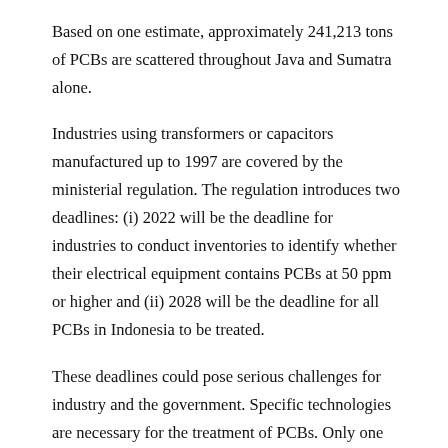Based on one estimate, approximately 241,213 tons of PCBs are scattered throughout Java and Sumatra alone.
Industries using transformers or capacitors manufactured up to 1997 are covered by the ministerial regulation. The regulation introduces two deadlines: (i) 2022 will be the deadline for industries to conduct inventories to identify whether their electrical equipment contains PCBs at 50 ppm or higher and (ii) 2028 will be the deadline for all PCBs in Indonesia to be treated.
These deadlines could pose serious challenges for industry and the government. Specific technologies are necessary for the treatment of PCBs. Only one facility, located in West Java, is expected to be ready soon to treat the waste. Moreover, its capacity is quite limited. Additional facilities are needed, particularly in areas outside Java. This may